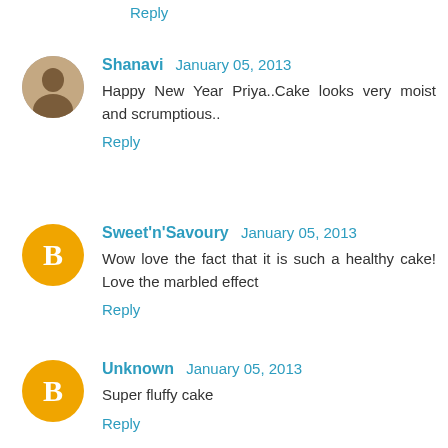Reply
Shanavi  January 05, 2013
Happy New Year Priya..Cake looks very moist and scrumptious..
Reply
Sweet'n'Savoury  January 05, 2013
Wow love the fact that it is such a healthy cake! Love the marbled effect
Reply
Unknown  January 05, 2013
Super fluffy cake
Reply